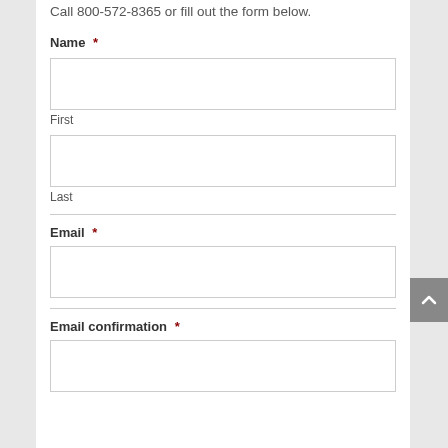Call 800-572-8365 or fill out the form below.
Name *
First
Last
Email *
Email confirmation *